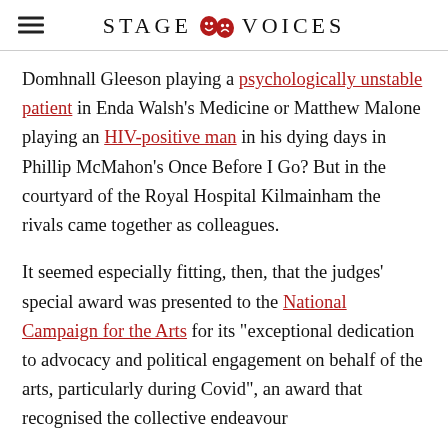STAGE VOICES
Domhnall Gleeson playing a psychologically unstable patient in Enda Walsh’s Medicine or Matthew Malone playing an HIV-positive man in his dying days in Phillip McMahon’s Once Before I Go? But in the courtyard of the Royal Hospital Kilmainham the rivals came together as colleagues.
It seemed especially fitting, then, that the judges’ special award was presented to the National Campaign for the Arts for its “exceptional dedication to advocacy and political engagement on behalf of the arts, particularly during Covid”, an award that recognised the collective endeavour